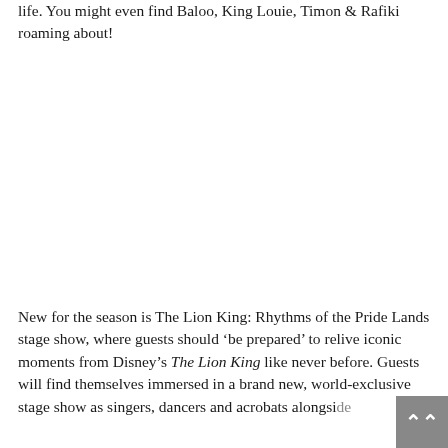life. You might even find Baloo, King Louie, Timon & Rafiki roaming about!
New for the season is The Lion King: Rhythms of the Pride Lands stage show, where guests should 'be prepared' to relive iconic moments from Disney's The Lion King like never before. Guests will find themselves immersed in a brand new, world-exclusive stage show as singers, dancers and acrobats alongside